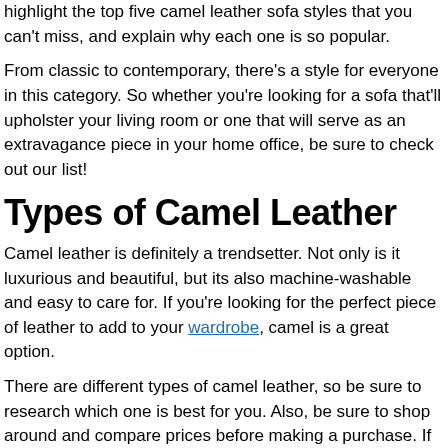highlight the top five camel leather sofa styles that you can't miss, and explain why each one is so popular.
From classic to contemporary, there's a style for everyone in this category. So whether you're looking for a sofa that'll upholster your living room or one that will serve as an extravagance piece in your home office, be sure to check out our list!
Types of Camel Leather
Camel leather is definitely a trendsetter. Not only is it luxurious and beautiful, but its also machine-washable and easy to care for. If you're looking for the perfect piece of leather to add to your wardrobe, camel is a great option.
There are different types of camel leather, so be sure to research which one is best for you. Also, be sure to shop around and compare prices before making a purchase. If you find the perfect piece of camel leather, don't hesitate – wear it